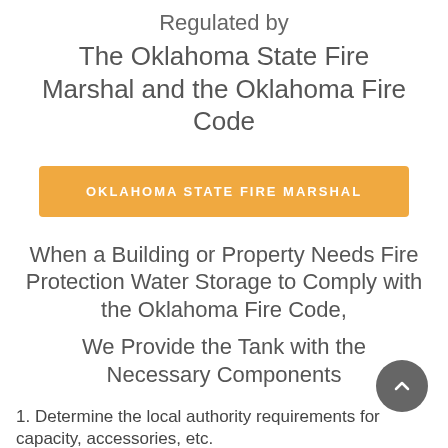Regulated by
The Oklahoma State Fire Marshal and the Oklahoma Fire Code
OKLAHOMA STATE FIRE MARSHAL
When a Building or Property Needs Fire Protection Water Storage to Comply with the Oklahoma Fire Code,
We Provide the Tank with the Necessary Components
1. Determine the local authority requirements for capacity, accessories, etc.